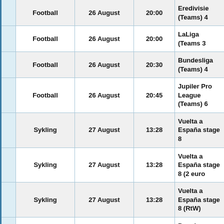|  | Sport | Date | Time | Event |
| --- | --- | --- | --- | --- |
|  | Football | 26 August | 20:00 | Eredivisie (Teams) 4 |
|  | Football | 26 August | 20:00 | LaLiga (Teams 3 |
|  | Football | 26 August | 20:30 | Bundesliga (Teams) 4 |
|  | Football | 26 August | 20:45 | Jupiler Pro League (Teams) 6 |
|  | Sykling | 27 August | 13:28 | Vuelta a España stage 8 |
|  | Sykling | 27 August | 13:28 | Vuelta a España stage 8 (2 euro |
|  | Sykling | 27 August | 13:28 | Vuelta a España stage 8 (RtW) |
|  | Football | 27 August | 13:30 | Premier League (RtFT) 4 |
|  | Football | 27 August | 13:30 | Premier League (Teams) 4 |
|  | Formula 1 | 27 August | 16:00 | Belgian Grand Prix Qualifying |
|  |  |  |  | Belgian Grand |